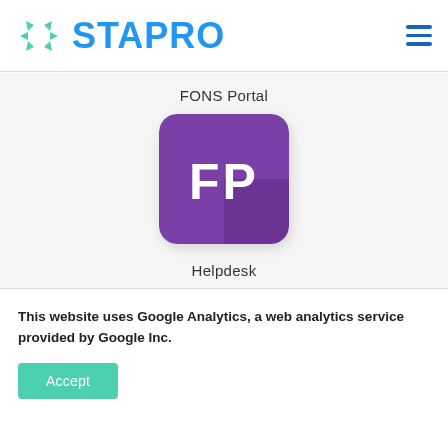STAPRO
FONS Portal
[Figure (logo): Purple rounded square icon with white letters FP (FONS Portal app icon)]
Helpdesk
This website uses Google Analytics, a web analytics service provided by Google Inc.